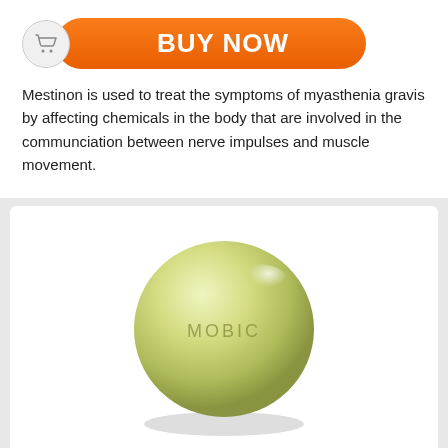[Figure (other): Orange rounded rectangle 'BUY NOW' button with shopping cart icon on left]
Mestinon is used to treat the symptoms of myasthenia gravis by affecting chemicals in the body that are involved in the communciation between nerve impulses and muscle movement.
[Figure (photo): A round yellow-green pill with 'MOBIC' imprinted on it, resting on a subtle shadow]
MOBIC
Meloxicam
$0.39 per pill